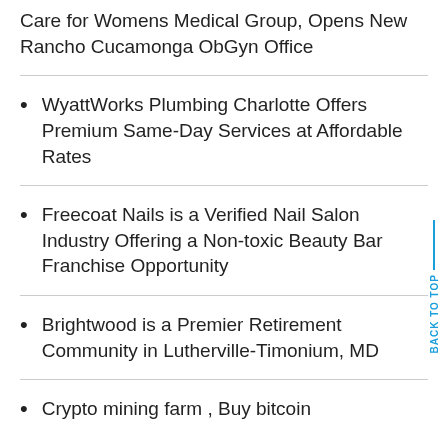Care for Womens Medical Group, Opens New Rancho Cucamonga ObGyn Office
WyattWorks Plumbing Charlotte Offers Premium Same-Day Services at Affordable Rates
Freecoat Nails is a Verified Nail Salon Industry Offering a Non-toxic Beauty Bar Franchise Opportunity
Brightwood is a Premier Retirement Community in Lutherville-Timonium, MD
Crypto mining farm , Buy bitcoin